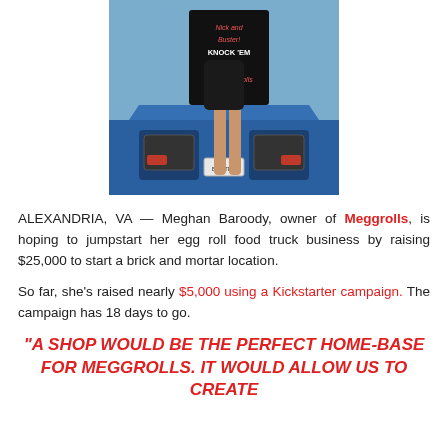[Figure (photo): A person standing in front of a blue car holding a sign that reads 'Nick and Buster! Knock 'em Dead! Love Meggrolls']
ALEXANDRIA, VA — Meghan Baroody, owner of Meggrolls, is hoping to jumpstart her egg roll food truck business by raising $25,000 to start a brick and mortar location.
So far, she's raised nearly $5,000 using a Kickstarter campaign. The campaign has 18 days to go.
"A SHOP WOULD BE THE PERFECT HOME-BASE FOR MEGGROLLS. IT WOULD ALLOW US TO CREATE...